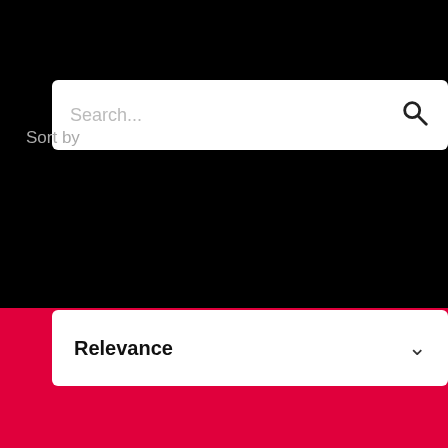[Figure (screenshot): Search input field with placeholder text 'Search...' and a search icon on the right, on a black background]
Sort by
[Figure (screenshot): Sort by dropdown selector showing 'Relevance' with a chevron/down arrow, on a black background]
[Figure (screenshot): Red/crimson footer section with a white chevron-up arrow and a WordPress logo icon at the bottom]